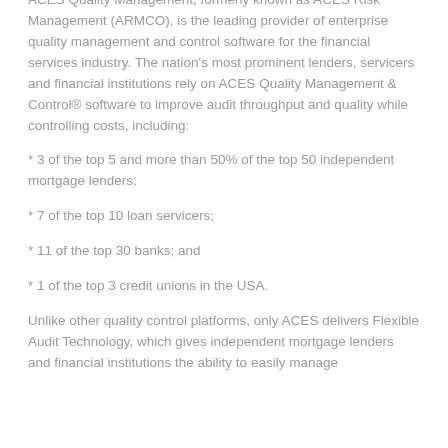ACES Quality Management, formerly known as ACES Risk Management (ARMCO), is the leading provider of enterprise quality management and control software for the financial services industry. The nation's most prominent lenders, servicers and financial institutions rely on ACES Quality Management & Control® software to improve audit throughput and quality while controlling costs, including:
* 3 of the top 5 and more than 50% of the top 50 independent mortgage lenders;
* 7 of the top 10 loan servicers;
* 11 of the top 30 banks; and
* 1 of the top 3 credit unions in the USA.
Unlike other quality control platforms, only ACES delivers Flexible Audit Technology, which gives independent mortgage lenders and financial institutions the ability to easily manage...